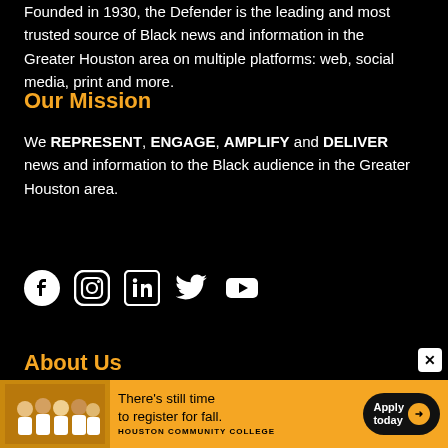Founded in 1930, the Defender is the leading and most trusted source of Black news and information in the Greater Houston area on multiple platforms: web, social media, print and more.
Our Mission
We REPRESENT, ENGAGE, AMPLIFY and DELIVER news and information to the Black audience in the Greater Houston area.
[Figure (infographic): Social media icons: Facebook, Instagram, LinkedIn, Twitter, YouTube]
About Us
Staff Directory
[Figure (infographic): Houston Community College advertisement banner: group photo of students, text 'There's still time to register for fall.' with Apply today button]